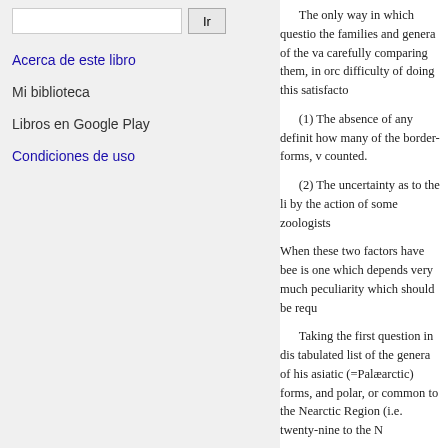Ir (search button)
Acerca de este libro
Mi biblioteca
Libros en Google Play
Condiciones de uso
The only way in which questions the families and genera of the va carefully comparing them, in or difficulty of doing this satisfacto
(1) The absence of any definit how many of the border-forms, w counted.
(2) The uncertainty as to the li by the action of some zoologists
When these two factors have be is one which depends very much peculiarity which should be requ
Taking the first question in dis tabulated list of the genera of his asiatic (=Palæarctic) forms, and polar, or common to the Nearct Region (i.e. twenty-nine to the N
range further south into the Neo Regions on the other.
Working from these tables we fi Palæarctic genera are confined t